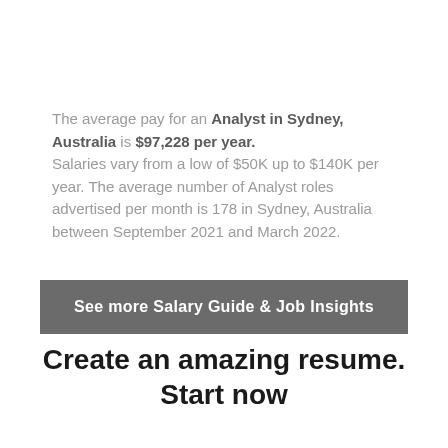The average pay for an Analyst in Sydney, Australia is $97,228 per year. Salaries vary from a low of $50K up to $140K per year. The average number of Analyst roles advertised per month is 178 in Sydney, Australia between September 2021 and March 2022.
See more Salary Guide & Job Insights
Create an amazing resume. Start now